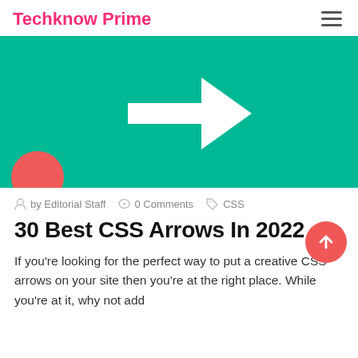Techknow Prime
[Figure (illustration): Green hero image with a large white right-pointing arrow in the center and a red semi-circle in the bottom-left corner]
by Editorial Staff  0 Comments  CSS
30 Best CSS Arrows In 2022
If you’re looking for the perfect way to put a creative CSS arrows on your site then you’re at the right place. While you’re at it, why not add